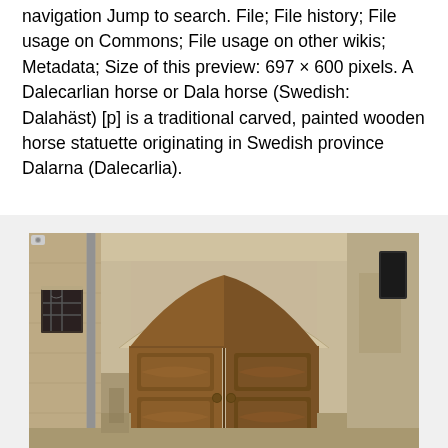navigation Jump to search. File; File history; File usage on Commons; File usage on other wikis; Metadata; Size of this preview: 697 × 600 pixels. A Dalecarlian horse or Dala horse (Swedish: Dalahäst) [p] is a traditional carved, painted wooden horse statuette originating in Swedish province Dalarna (Dalecarlia).
[Figure (photo): Photograph of an ornate wooden double door with arched stone surround set into a weathered stone facade. The door is panelled warm brown wood with decorative curved panels and two round knobs. A small window with iron grille is visible to the left. A drainpipe runs along the left side.]